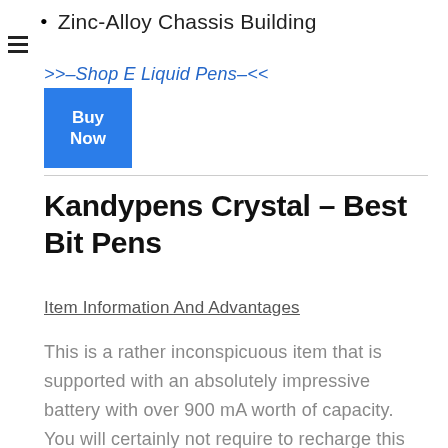Zinc-Alloy Chassis Building
>>–Shop E Liquid Pens–<<
[Figure (other): Blue 'Buy Now' button]
Kandypens Crystal – Best Bit Pens
Item Information And Advantages
This is a rather inconspicuous item that is supported with an absolutely impressive battery with over 900 mA worth of capacity. You will certainly not require to recharge this virtually as frequently as you will other items.